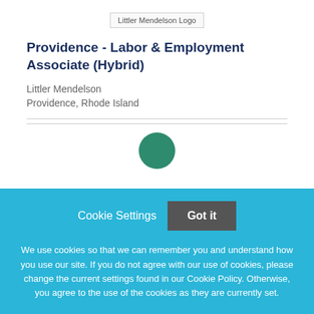[Figure (logo): Littler Mendelson Logo]
Providence - Labor & Employment Associate (Hybrid)
Littler Mendelson
Providence, Rhode Island
Cookie Settings   Got it
We use cookies so that we can remember you and understand how you use our site. If you do not agree with our use of cookies, please change the current settings found in our Cookie Policy. Otherwise, you agree to the use of the cookies as they are currently set.